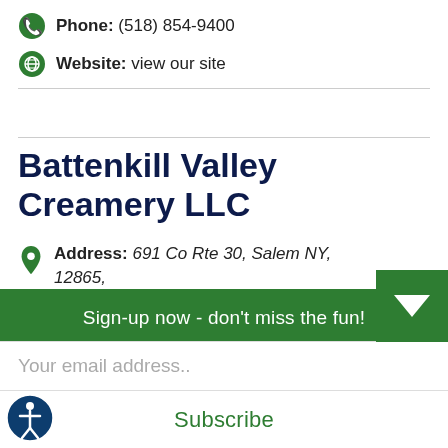Phone: (518) 854-9400
Website: view our site
Battenkill Valley Creamery LLC
Address: 691 Co Rte 30, Salem NY, 12865,
Sign-up now - don't miss the fun!
Your email address..
Subscribe